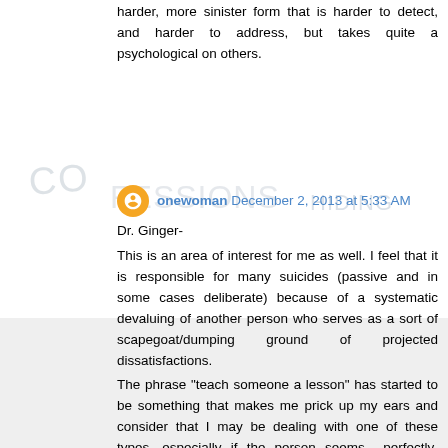harder, more sinister form that is harder to detect, and harder to address, but takes quite a psychological on others.
[Figure (illustration): Watermark/background text reading 'CONFESSIONS A LIFE SPENT HIDING OF A SOCIOPATH IN PLAIN SIGHT M.E. THOMAS' in light grey handwritten style]
onewoman December 2, 2013 at 5:33 AM
Dr. Ginger-
This is an area of interest for me as well. I feel that it is responsible for many suicides (passive and in some cases deliberate) because of a systematic devaluing of another person who serves as a sort of scapegoat/dumping ground of projected dissatisfactions.
The phrase "teach someone a lesson" has started to be something that makes me prick up my ears and consider that I may be dealing with one of these types, especially if the person seems perfectly balanced/normal/professional. I've worked with a number of battered women and this is something their partners often say before commencing abusive behavior. These particular individuals (with one exception) have all been high-functioning pillars of society.